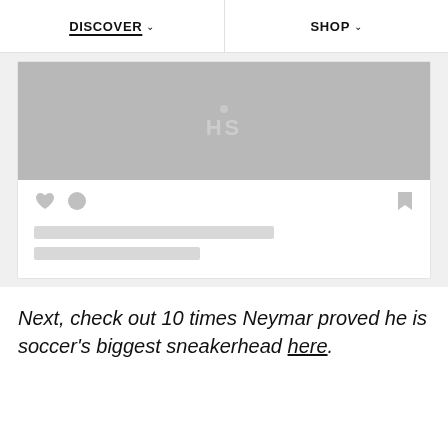DISCOVER   SHOP
[Figure (screenshot): A card UI component with a gray image placeholder showing 'HS' text, social icons (heart, comment bubble, bookmark), and two loading skeleton bars beneath]
Next, check out 10 times Neymar proved he is soccer's biggest sneakerhead here.